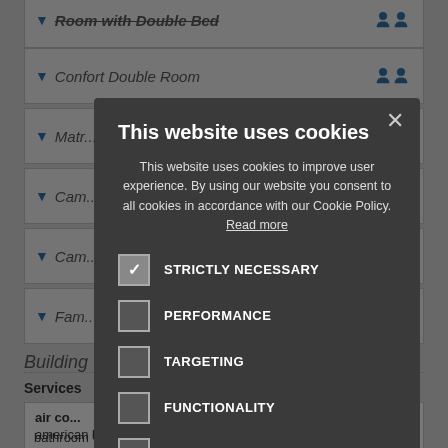[Figure (screenshot): Background hotel booking website showing room listing rows with italic room names, chevron icons, and person icons. Includes section headers 'Building' and 'Services' and a services list with items like 'air co...', 'american breakfast', 'bathroom with shower', 'beach agreements'.]
[Figure (screenshot): Cookie consent modal dialog with dark background. Title 'This website uses cookies', body text about cookie policy with a 'Read more' link, and five cookie category checkboxes: STRICTLY NECESSARY (checked), PERFORMANCE (unchecked), TARGETING (unchecked), FUNCTIONALITY (unchecked), UNCLASSIFIED (unchecked). Close button (x) in top right corner.]